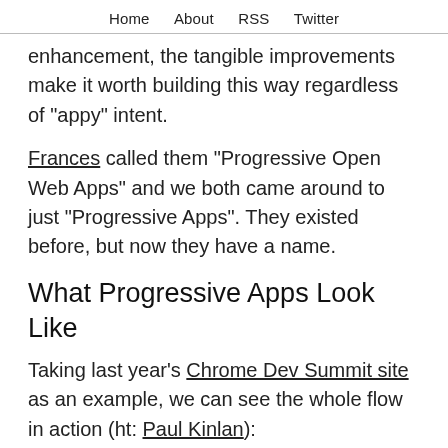Home   About   RSS   Twitter
enhancement, the tangible improvements make it worth building this way regardless of "appy" intent.
Frances called them "Progressive Open Web Apps" and we both came around to just "Progressive Apps". They existed before, but now they have a name.
What Progressive Apps Look Like
Taking last year's Chrome Dev Summit site as an example, we can see the whole flow in action (ht: Paul Kinlan):